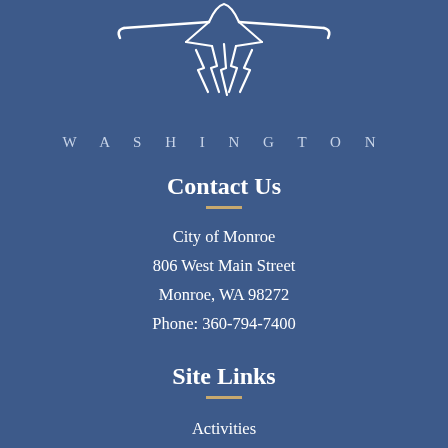[Figure (logo): Washington state city logo — stylized bird/eagle above the word WASHINGTON in spaced capital letters]
Contact Us
City of Monroe
806 West Main Street
Monroe, WA 98272
Phone: 360-794-7400
Site Links
Activities
Agendas & Minutes
Flood Information